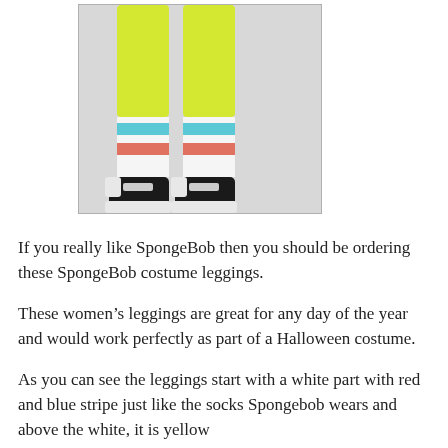[Figure (photo): Photo of a person's legs wearing yellow leggings with white lower section featuring a blue stripe and a red/salmon stripe, paired with black and white high-top sneakers, on a light gray background.]
If you really like SpongeBob then you should be ordering these SpongeBob costume leggings.
These women’s leggings are great for any day of the year and would work perfectly as part of a Halloween costume.
As you can see the leggings start with a white part with red and blue stripe just like the socks Spongebob wears and above the white, it is yellow